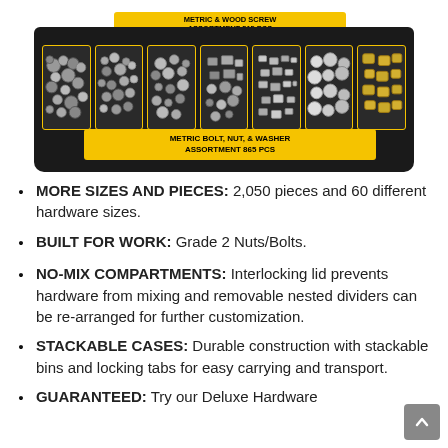[Figure (photo): A black hardware storage case with yellow dividers and labeled compartments filled with metric bolts, nuts, and washers. Top label reads 'METRIC & WOOD SCREW ASSORTMENT 515 PCS' and bottom label reads 'METRIC BOLT, NUT, & WASHER ASSORTMENT 865 PCS'.]
MORE SIZES AND PIECES: 2,050 pieces and 60 different hardware sizes.
BUILT FOR WORK: Grade 2 Nuts/Bolts.
NO-MIX COMPARTMENTS: Interlocking lid prevents hardware from mixing and removable nested dividers can be re-arranged for further customization.
STACKABLE CASES: Durable construction with stackable bins and locking tabs for easy carrying and transport.
GUARANTEED: Try our Deluxe Hardware Assortment Kit with NO risk and 100%...